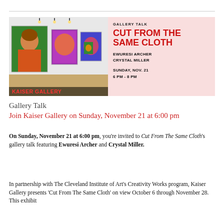[Figure (photo): Interior of Kaiser Gallery showing colorful large-format paintings on white walls with track lighting and hardwood floors. On the left is a portrait of a woman in a turban and orange coat.]
GALLERY TALK
CUT FROM THE SAME CLOTH
EWURESI ARCHER
CRYSTAL MILLER
SUNDAY, NOV. 21
6 PM - 8 PM
Gallery Talk
Join Kaiser Gallery on Sunday, November 21 at 6:00 pm
On Sunday, November 21 at 6:00 pm, you're invited to Cut From The Same Cloth's gallery talk featuring Ewuresi Archer and Crystal Miller.
In partnership with The Cleveland Institute of Art's Creativity Works program, Kaiser Gallery presents 'Cut From The Same Cloth' on view October 6 through November 28. This exhibit